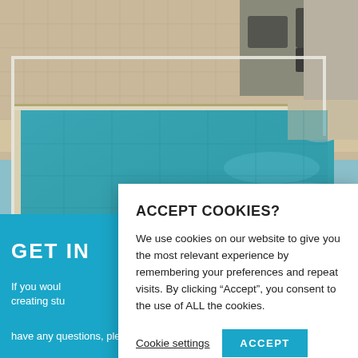[Figure (photo): Indoor swimming pool with teal/turquoise water, tiled walls, and lounge furniture in the background]
ACCEPT COOKIES?
We use cookies on our website to give you the most relevant experience by remembering your preferences and repeat visits. By clicking “Accept”, you consent to the use of ALL the cookies.
Cookie settings   ACCEPT
GET IN
If you woul
creating stu
have any questions, please feel free to contact us